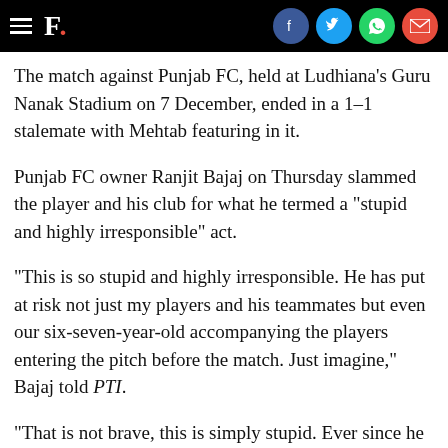F. [with social share icons: Facebook, Twitter, WhatsApp, Email]
The match against Punjab FC, held at Ludhiana's Guru Nanak Stadium on 7 December, ended in a 1-1 stalemate with Mehtab featuring in it.
Punjab FC owner Ranjit Bajaj on Thursday slammed the player and his club for what he termed a "stupid and highly irresponsible" act.
"This is so stupid and highly irresponsible. He has put at risk not just my players and his teammates but even our six-seven-year-old accompanying the players entering the pitch before the match. Just imagine," Bajaj told PTI.
"That is not brave, this is simply stupid. Ever since he boarded the plane or train from Kolkata, he must have put the players at risk of contracting this highly contagious disease."
One of their key players at the back, Mehtab marshalled the